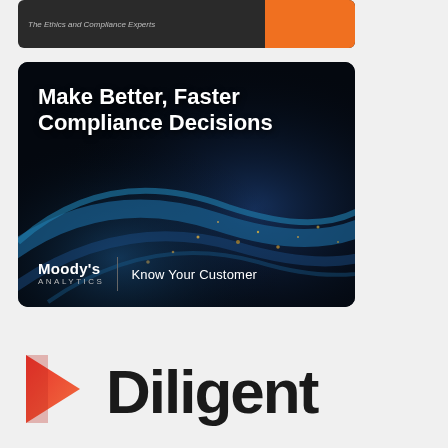[Figure (screenshot): Top advertisement banner with dark background, italic text 'The Ethics and Compliance Experts' on left and orange button on right]
[Figure (screenshot): Moody's Analytics 'Know Your Customer' advertisement. Dark background with glowing blue and gold swirl. Headline: 'Make Better, Faster Compliance Decisions'. Bottom left: Moody's Analytics logo with vertical divider and 'Know Your Customer' text.]
[Figure (logo): Diligent logo: red/orange 'D' chevron icon on left followed by large bold black text 'Diligent']